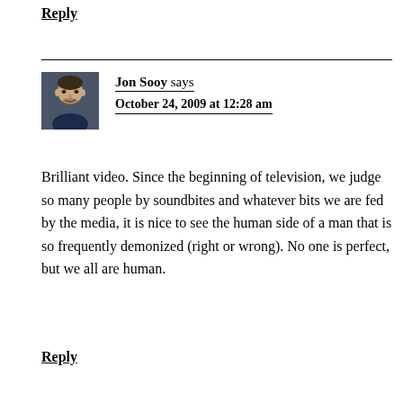Reply
Jon Sooy says
October 24, 2009 at 12:28 am
[Figure (photo): Avatar photo of Jon Sooy, a man with short dark hair]
Brilliant video. Since the beginning of television, we judge so many people by soundbites and whatever bits we are fed by the media, it is nice to see the human side of a man that is so frequently demonized (right or wrong). No one is perfect, but we all are human.
Reply